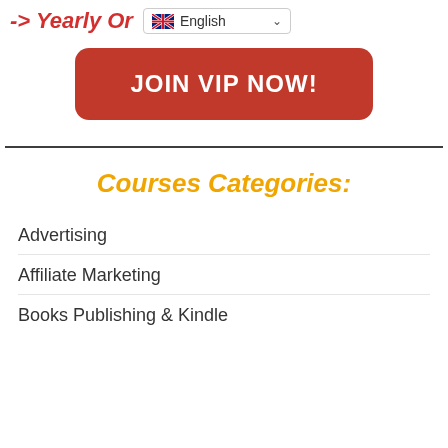-> Yearly Or
English
JOIN VIP NOW!
Courses Categories:
Advertising
Affiliate Marketing
Books Publishing & Kindle